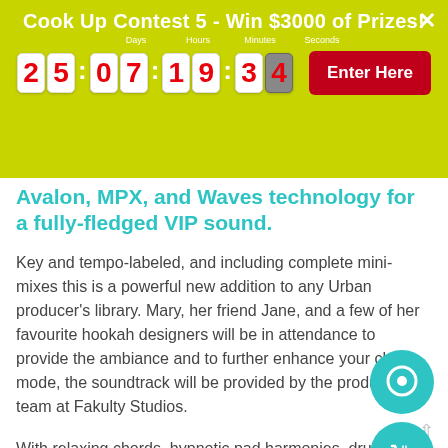Cook Up Contest 5 - Win $3000 of Prizes!
...Avalon, MPX, and Waves technology for a fully-fledged VIP sound.
Key and tempo-labeled, and including complete mini-mixes this is a powerful new addition to any Urban producer's library. Mary, her friend Jane, and a few of her favourite hookah designers will be in attendance to provide the ambiance and to further enhance your chillax mode, the soundtrack will be provided by the production team at Fakulty Studios.
With relaxing chords, hypnotic pad harmonies, drum patterns that don't overpower the other ingredients, inhale the aroma as Fakulty provides you with the perfect soundtrack to exhale too.
Product Details